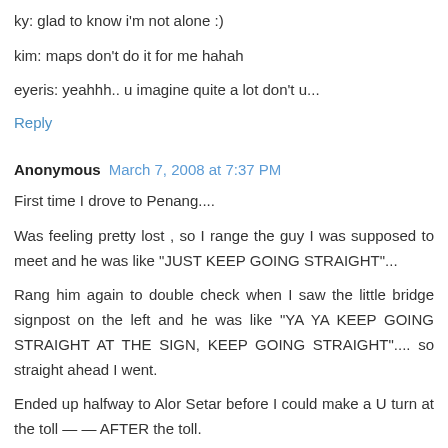ky: glad to know i'm not alone :)
kim: maps don't do it for me hahah
eyeris: yeahhh.. u imagine quite a lot don't u...
Reply
Anonymous  March 7, 2008 at 7:37 PM
First time I drove to Penang....
Was feeling pretty lost , so I range the guy I was supposed to meet and he was like "JUST KEEP GOING STRAIGHT"...
Rang him again to double check when I saw the little bridge signpost on the left and he was like "YA YA KEEP GOING STRAIGHT AT THE SIGN, KEEP GOING STRAIGHT".... so straight ahead I went.
Ended up halfway to Alor Setar before I could make a U turn at the toll — — AFTER the toll.